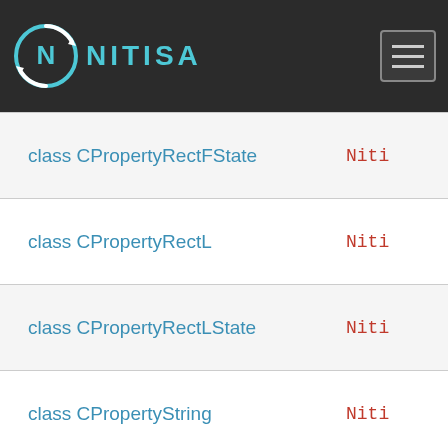NITISA
| Class | Namespace |
| --- | --- |
| class CPropertyRectFState | Niti... |
| class CPropertyRectL | Niti... |
| class CPropertyRectLState | Niti... |
| class CPropertyString | Niti... |
| class CPropertyStringState | Niti... |
| class CPropertyStyle | Niti... |
| class CPropertyStyleState | Niti... |
| class CPropertyText | Niti... |
| class CPropertyTextState | Niti... |
| class CPropertyTransform | Niti... |